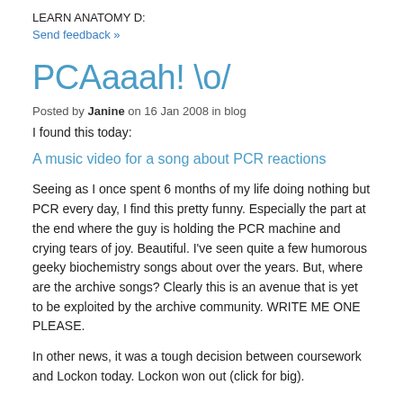LEARN ANATOMY D:
Send feedback »
PCAaaah! \o/
Posted by Janine on 16 Jan 2008 in blog
I found this today:
A music video for a song about PCR reactions
Seeing as I once spent 6 months of my life doing nothing but PCR every day, I find this pretty funny. Especially the part at the end where the guy is holding the PCR machine and crying tears of joy. Beautiful. I've seen quite a few humorous geeky biochemistry songs about over the years. But, where are the archive songs? Clearly this is an avenue that is yet to be exploited by the archive community. WRITE ME ONE PLEASE.
In other news, it was a tough decision between coursework and Lockon today. Lockon won out (click for big).